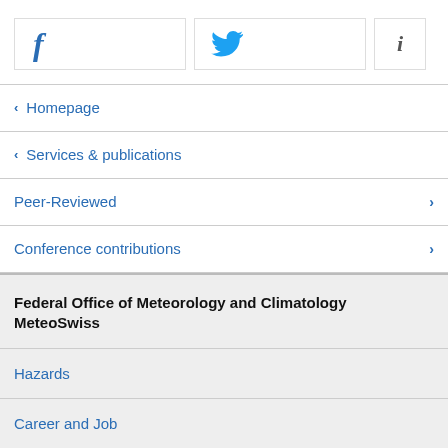[Figure (screenshot): Social media buttons: Facebook (f), Twitter (bird icon), and info (i) icons in bordered boxes]
< Homepage
< Services & publications
Peer-Reviewed >
Conference contributions >
Federal Office of Meteorology and Climatology MeteoSwiss
Hazards
Career and Job
Media
Contact